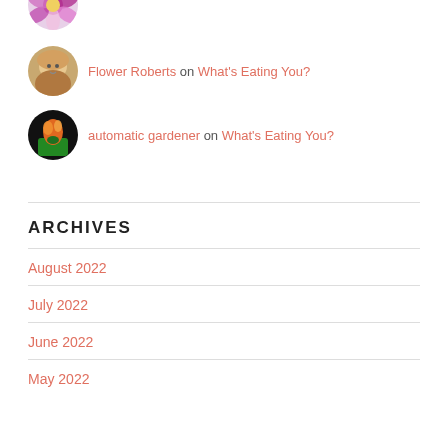[Figure (photo): Colorful flower avatar image]
[Figure (photo): Person with glasses and blonde hair avatar]
Flower Roberts on What's Eating You?
[Figure (photo): Orange tropical plant on dark background avatar]
automatic gardener on What's Eating You?
ARCHIVES
August 2022
July 2022
June 2022
May 2022